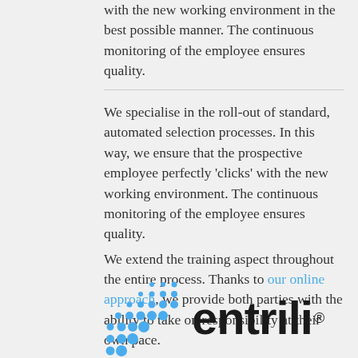with the new working environment in the best possible manner. The continuous monitoring of the employee ensures quality.
We specialise in the roll-out of standard, automated selection processes. In this way, we ensure that the prospective employee perfectly 'clicks' with the new working environment. The continuous monitoring of the employee ensures quality.
We extend the training aspect throughout the entire process. Thanks to our online approach, we provide both parties with the ability to take on responsibility at their own pace.
[Figure (logo): Entrili logo: blue dots pattern on the left and the word 'entrili' in bold black with a registered trademark symbol]